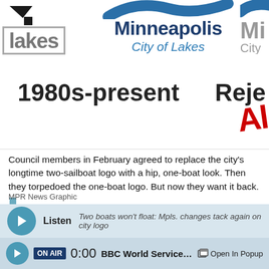[Figure (logo): Minneapolis City of Lakes logo with wave graphic, shown partially cropped — left 'lakes' text logo in grey outlined box with black triangle icon, center shows 'Minneapolis / City of Lakes' in dark blue/teal, right edge shows partial 'Mi / City' logo. Below logos: '1980s-present' text and partial 'Reje' with red stamp letters 'A'.]
Council members in February agreed to replace the city's longtime two-sailboat logo with a hip, one-boat look. Then they torpedoed the one-boat logo. But now they want it back.
MPR News Graphic
Listen  Two boats won't float: Mpls. changes tack again on city logo
ON AIR 0:00 BBC World Service: The Arts I  Open In Popup